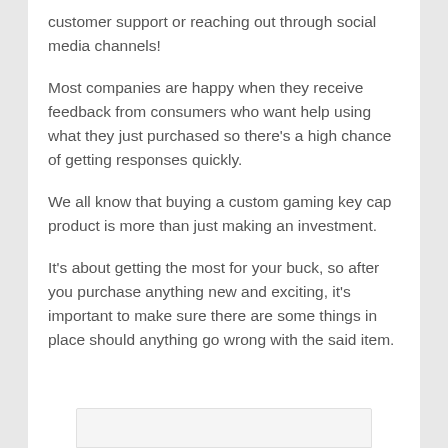customer support or reaching out through social media channels!
Most companies are happy when they receive feedback from consumers who want help using what they just purchased so there's a high chance of getting responses quickly.
We all know that buying a custom gaming key cap product is more than just making an investment.
It's about getting the most for your buck, so after you purchase anything new and exciting, it's important to make sure there are some things in place should anything go wrong with the said item.